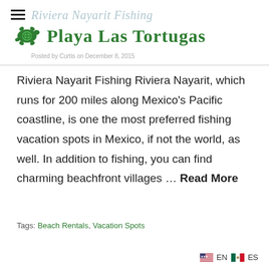Playa Las Tortugas
Riviera Nayarit Fishing Riviera Nayarit, which runs for 200 miles along Mexico’s Pacific coastline, is one the most preferred fishing vacation spots in Mexico, if not the world, as well. In addition to fishing, you can find charming beachfront villages … Read More
Tags: Beach Rentals, Vacation Spots
EN ES